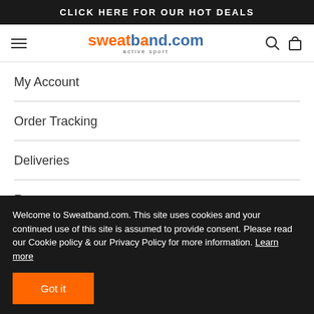CLICK HERE FOR OUR HOT DEALS
[Figure (logo): sweatband.com active sport logo with hamburger menu, search and cart icons]
My Account
Order Tracking
Deliveries
Returns
Contact us
Welcome to Sweatband.com. This site uses cookies and your continued use of this site is assumed to provide consent. Please read our Cookie policy & our Privacy Policy for more information. Learn more
Got it